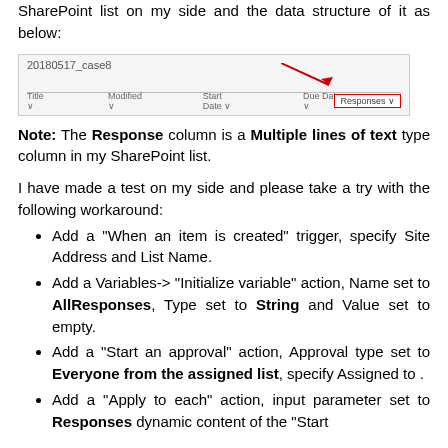SharePoint list on my side and the data structure of it as below:
[Figure (screenshot): Screenshot of a SharePoint list named '20180517_case8' showing column headers with the last column (Responses) highlighted with a red border and red arrow pointing to it.]
Note: The Response column is a Multiple lines of text type column in my SharePoint list.
I have made a test on my side and please take a try with the following workaround:
Add a "When an item is created" trigger, specify Site Address and List Name.
Add a Variables-> "Initialize variable" action, Name set to AllResponses, Type set to String and Value set to empty.
Add a "Start an approval" action, Approval type set to Everyone from the assigned list, specify Assigned to .
Add a "Apply to each" action, input parameter set to Responses dynamic content of the "Start